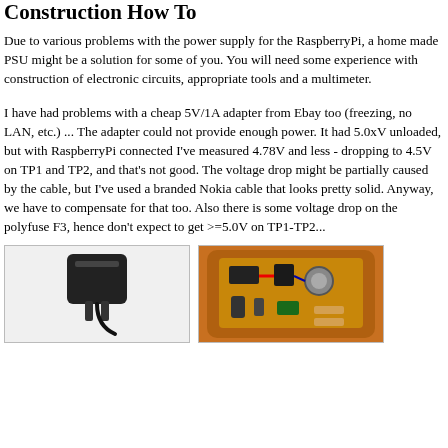Construction How To
Due to various problems with the power supply for the RaspberryPi, a home made PSU might be a solution for some of you. You will need some experience with construction of electronic circuits, appropriate tools and a multimeter.
I have had problems with a cheap 5V/1A adapter from Ebay too (freezing, no LAN, etc.) ... The adapter could not provide enough power. It had 5.0xV unloaded, but with RaspberryPi connected I've measured 4.78V and less - dropping to 4.5V on TP1 and TP2, and that's not good. The voltage drop might be partially caused by the cable, but I've used a branded Nokia cable that looks pretty solid. Anyway, we have to compensate for that too. Also there is some voltage drop on the polyfuse F3, hence don't expect to get >=5.0V on TP1-TP2...
[Figure (photo): Photo of a black power adapter/charger plug]
[Figure (photo): Photo of the inside of a power adapter showing electronic circuit board components on orange/gold background]